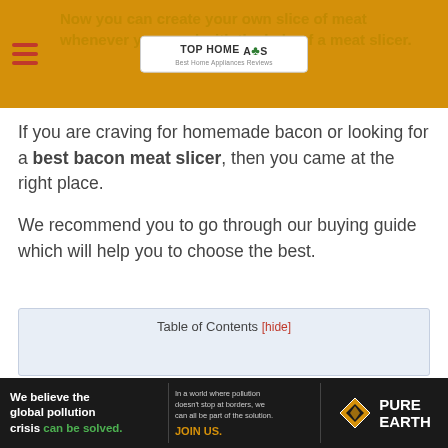Now you can create your own slice of meat whenever you need with the help of a meat slicer
[Figure (logo): Top Home Apps logo with shamrock icon and tagline 'Best Home Appliances Reviews']
If you are craving for homemade bacon or looking for a best bacon meat slicer, then you came at the right place.
We recommend you to go through our buying guide which will help you to choose the best.
Table of Contents [hide]
[Figure (infographic): Pure Earth advertisement banner: 'We believe the global pollution crisis can be solved. In a world where pollution doesn't stop at borders, we can all be part of the solution. JOIN US.']